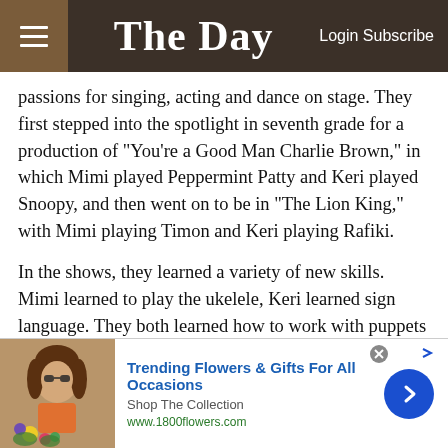The Day — Login Subscribe
passions for singing, acting and dance on stage. They first stepped into the spotlight in seventh grade for a production of "You're a Good Man Charlie Brown," in which Mimi played Peppermint Patty and Keri played Snoopy, and then went on to be in "The Lion King," with Mimi playing Timon and Keri playing Rafiki.
In the shows, they learned a variety of new skills. Mimi learned to play the ukelele, Keri learned sign language. They both learned how to work with puppets and balance bottles on their heads. Keri helped out with younger students' productions and Mimi tried her hand at directing
[Figure (other): Advertisement banner for 1800flowers.com showing a woman with flowers, with text 'Trending Flowers & Gifts For All Occasions', 'Shop The Collection', 'www.1800flowers.com' and a blue arrow button]